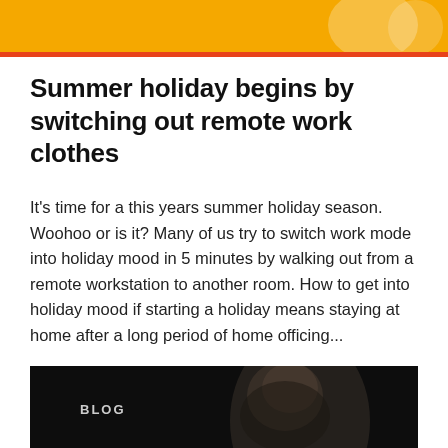[Figure (illustration): Yellow banner header with circular decorative elements and an orange/red horizontal line separator below]
Summer holiday begins by switching out remote work clothes
It's time for a this years summer holiday season. Woohoo or is it? Many of us try to switch work mode into holiday mood in 5 minutes by walking out from a remote workstation to another room. How to get into holiday mood if starting a holiday means staying at home after a long period of home officing...
[Figure (photo): Dark moody photo of a person with dark hair, eyes closed, partially shadowed, with BLOG label overlaid in the top left corner]